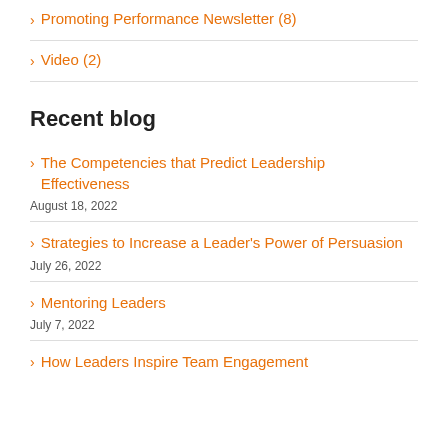Promoting Performance Newsletter (8)
Video (2)
Recent blog
The Competencies that Predict Leadership Effectiveness
August 18, 2022
Strategies to Increase a Leader's Power of Persuasion
July 26, 2022
Mentoring Leaders
July 7, 2022
How Leaders Inspire Team Engagement